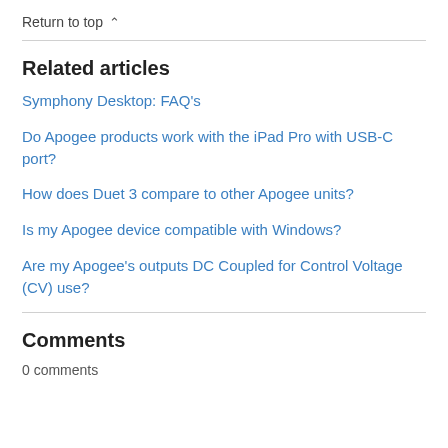Return to top ^
Related articles
Symphony Desktop: FAQ's
Do Apogee products work with the iPad Pro with USB-C port?
How does Duet 3 compare to other Apogee units?
Is my Apogee device compatible with Windows?
Are my Apogee's outputs DC Coupled for Control Voltage (CV) use?
Comments
0 comments